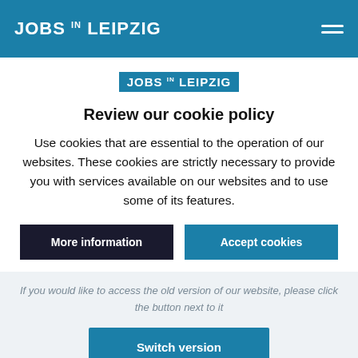JOBS IN LEIPZIG
[Figure (logo): JOBS IN LEIPZIG logo badge in blue]
Review our cookie policy
Use cookies that are essential to the operation of our websites. These cookies are strictly necessary to provide you with services available on our websites and to use some of its features.
More information | Accept cookies
If you would like to access the old version of our website, please click the button next to it
Switch version